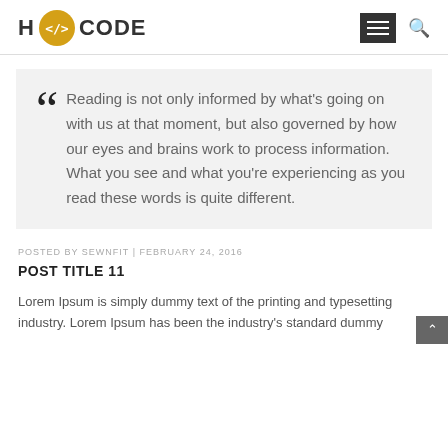H </> CODE
Reading is not only informed by what's going on with us at that moment, but also governed by how our eyes and brains work to process information. What you see and what you're experiencing as you read these words is quite different.
POSTED BY SEWNFIT | FEBRUARY 24, 2016
POST TITLE 11
Lorem Ipsum is simply dummy text of the printing and typesetting industry. Lorem Ipsum has been the industry's standard dummy